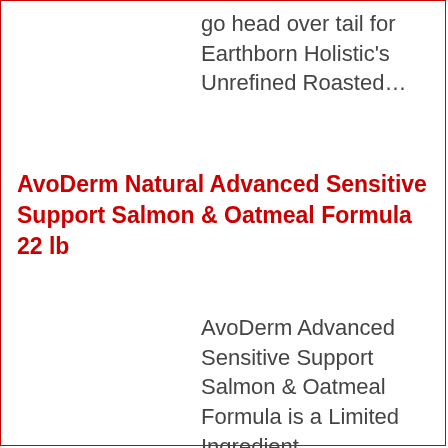go head over tail for Earthborn Holistic's Unrefined Roasted…
AvoDerm Natural Advanced Sensitive Support Salmon & Oatmeal Formula 22 lb
AvoDerm Advanced Sensitive Support Salmon & Oatmeal Formula is a Limited Ingredient…